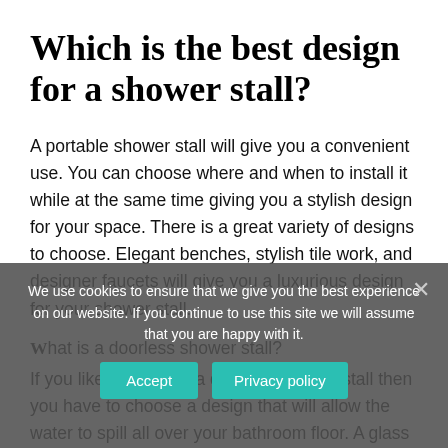Which is the best design for a shower stall?
A portable shower stall will give you a convenient use. You can choose where and when to install it while at the same time giving you a stylish design for your space. There is a great variety of designs to choose. Elegant benches, stylish tile work, and designer faucets will give you a luxurious design for your shower stall.
We use cookies to ensure that we give you the best experience on our website. If you continue to use this site we will assume that you are happy with it.
If you like the idea of a doorless shower stall then you have to choose a design that will allow the water to spill all over your bathroom floor. A glass wall that...